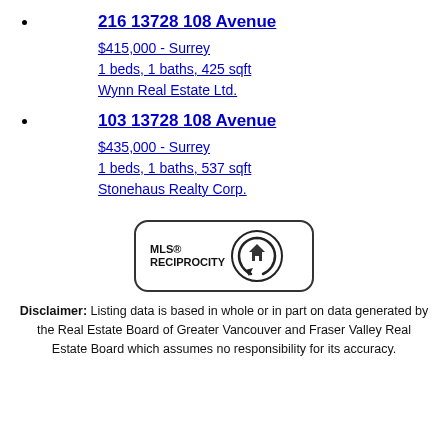216 13728 108 Avenue
$415,000 - Surrey
1 beds, 1 baths, 425 sqft
Wynn Real Estate Ltd.
103 13728 108 Avenue
$435,000 - Surrey
1 beds, 1 baths, 537 sqft
Stonehaus Realty Corp.
[Figure (logo): MLS Reciprocity logo with house icon and circular arrow]
Disclaimer: Listing data is based in whole or in part on data generated by the Real Estate Board of Greater Vancouver and Fraser Valley Real Estate Board which assumes no responsibility for its accuracy.